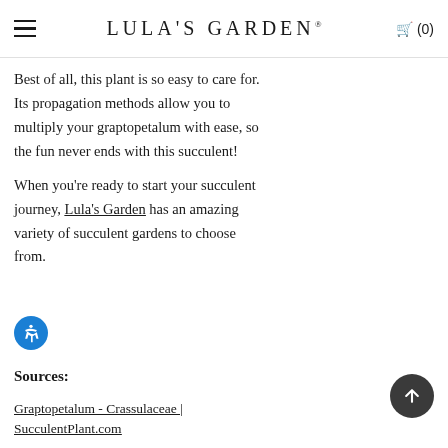LULA'S GARDEN (0)
Best of all, this plant is so easy to care for. Its propagation methods allow you to multiply your graptopetalum with ease, so the fun never ends with this succulent!

When you're ready to start your succulent journey, Lula's Garden has an amazing variety of succulent gardens to choose from.
Sources:
Graptopetalum - Crassulaceae | SucculentPlant.com
Ghost Plant (Graptopetalum paraguayense) |